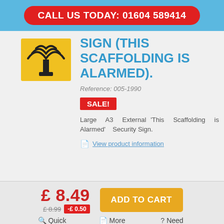CALL US TODAY: 01604 589414
SIGN (THIS SCAFFOLDING IS ALARMED).
Reference: 005-1990
SALE!
Large A3 External 'This Scaffolding is Alarmed' Security Sign.
View product information
£ 8.49
£ 8.99  -£ 0.50
ADD TO CART
Quick view
More info
Need help?